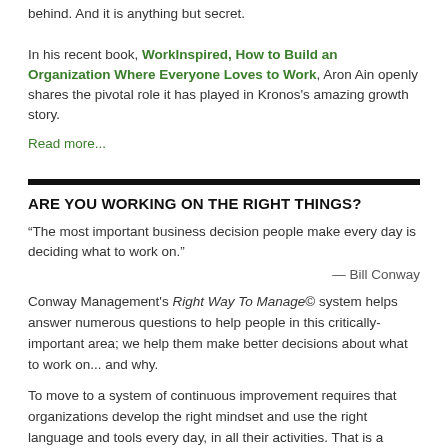behind. And it is anything but secret. In his recent book, WorkInspired, How to Build an Organization Where Everyone Loves to Work, Aron Ain openly shares the pivotal role it has played in Kronos's amazing growth story.
Read more...
ARE YOU WORKING ON THE RIGHT THINGS?
“The most important business decision people make every day is deciding what to work on.”
— Bill Conway
Conway Management's Right Way To Manage© system helps answer numerous questions to help people in this critically-important area; we help them make better decisions about what to work on... and why.
To move to a system of continuous improvement requires that organizations develop the right mindset and use the right language and tools every day, in all their activities. That is a major culture change for most organizations.